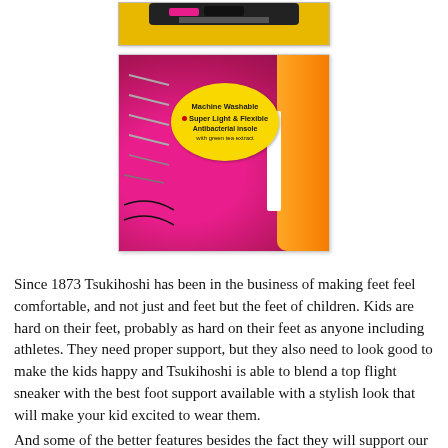[Figure (photo): Top portion of a children's shoe product photo showing a shoe on a yellow box, partially cropped]
[Figure (photo): Close-up photo of a bright pink/magenta Tsukihoshi children's sneaker with a yellow oval tag reading 'Machine Washable', 'Super Light & Flexible', 'Antibacterial insole with green tea extract'. Orange sole visible on right side.]
Since 1873 Tsukihoshi has been in the business of making feet feel comfortable, and not just and feet but the feet of children. Kids are hard on their feet, probably as hard on their feet as anyone including athletes. They need proper support, but they also need to look good to make the kids happy and Tsukihoshi is able to blend a top flight sneaker with the best foot support available with a stylish look that will make your kid excited to wear them.
And some of the better features besides the fact they will support our